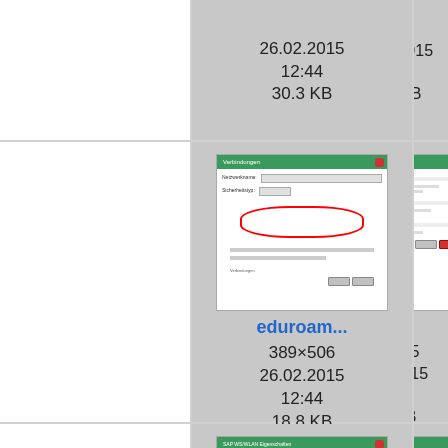[Figure (screenshot): File browser thumbnail grid showing eduroam configuration screenshots with filenames, dimensions, dates and file sizes]
26.02.2015
12:44
30.3 KB
26.02.2015
12:44
23.4 KB
[Figure (screenshot): eduroam Windows configuration dialog with red oval highlight around text area]
eduroam...
389×506
26.02.2015
12:44
18.8 KB
[Figure (screenshot): eduroam Windows configuration dialog with red circle markers on radio buttons]
eduroam...
393×575
26.02.2015
12:44
28.9 KB
[Figure (screenshot): SAP WLAN/eduroam login dialog with red upward arrow annotation]
eduroam...
301×179
26.02.2015
[Figure (screenshot): eduroam Windows configuration dialog with red oval highlight]
eduroam...
389×506
26.02.2015